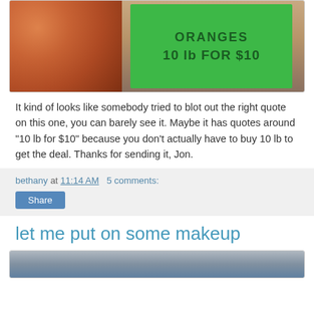[Figure (photo): Photo of oranges in a basket next to a green handwritten sign that reads 'ORANGES 10 lb FOR $10']
It kind of looks like somebody tried to blot out the right quote on this one, you can barely see it. Maybe it has quotes around "10 lb for $10" because you don't actually have to buy 10 lb to get the deal. Thanks for sending it, Jon.
bethany at 11:14 AM   5 comments:
Share
let me put on some makeup
[Figure (photo): Partial image of makeup or cosmetics, cropped at bottom of page]